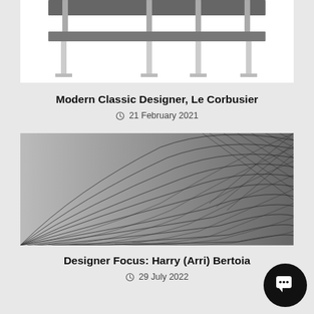[Figure (photo): Partial top view of a modern bench/furniture piece with metal legs on white background, cropped at top]
Modern Classic Designer, Le Corbusier
21 February 2021
[Figure (photo): Close-up black and white photograph of Harry Bertoia's wire mesh chair sculpture showing geometric grid and curved wire patterns]
Designer Focus: Harry (Arri) Bertoia
29 July 2022